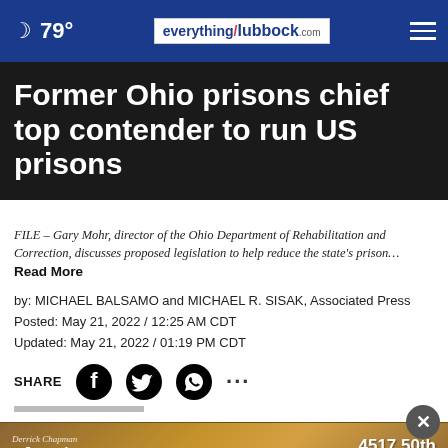79° everything/lubbock.com
Former Ohio prisons chief top contender to run US prisons
FILE – Gary Mohr, director of the Ohio Department of Rehabilitation and Correction, discusses proposed legislation to help reduce the state's prison… Read More
by: MICHAEL BALSAMO and MICHAEL R. SISAK, Associated Press
Posted: May 21, 2022 / 12:25 AM CDT
Updated: May 21, 2022 / 01:19 PM CDT
[Figure (infographic): Share bar with Facebook, Twitter, WhatsApp icons and more options dots]
[Figure (infographic): Advertisement banner: Derrick Chapman Flooring America - A Beautiful Home Starts From the Floors Up - 4517 50th, 806-687-3411]
WASH...e Ohio